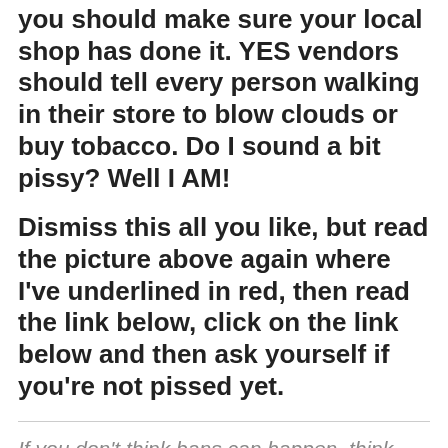you should make sure your local shop has done it. YES vendors should tell every person walking in their store to blow clouds or buy tobacco. Do I sound a bit pissy? Well I AM!
Dismiss this all you like, but read the picture above again where I've underlined in red, then read the link below, click on the link below and then ask yourself if you're not pissed yet.
If you don't think bans can happen, think again: http://www.ecigarette-politics.com/electronic-cigarettes-global-legal-status.html